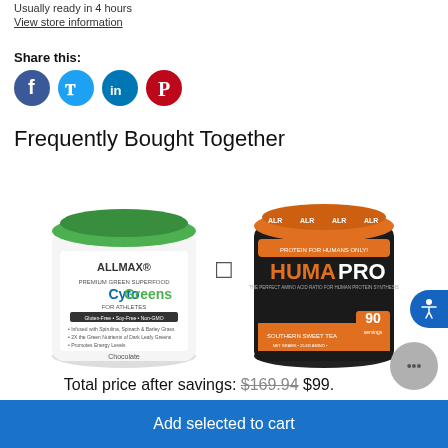Usually ready in 4 hours
View store information
Share this:
[Figure (infographic): Social media share icons: Facebook (blue circle), Twitter (light blue circle), LinkedIn (teal circle), Pinterest (red circle)]
Frequently Bought Together
[Figure (photo): ALLMAX CytoGreens Premium Green Superfood supplement container (Chocolate flavor, green lid) on the left, plus symbol in the middle, and ALR HumaPro protein supplement container (black/orange, Southern Sweet Tea flavor, 90 servings) on the right]
Total price after savings: $169.94 $99.
Add selected to cart